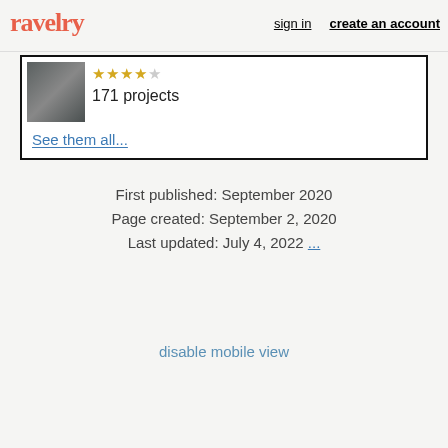ravelry   sign in   create an account
[Figure (screenshot): Card section with a photo thumbnail, star rating icons, and '171 projects' text, plus a 'See them all...' link]
First published: September 2020
Page created: September 2, 2020
Last updated: July 4, 2022 ...
disable mobile view